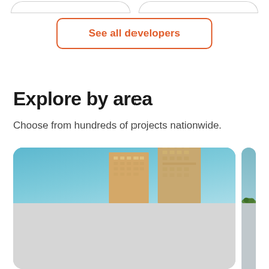[Figure (screenshot): Partial view of two rounded pill-shaped outline buttons at the very top of the page, cropped]
See all developers
Explore by area
Choose from hundreds of projects nationwide.
[Figure (photo): Photo card showing two tall high-rise buildings under construction against a blue sky, with a crane visible. Lower half of card is gray/placeholder.]
[Figure (photo): Partial second card visible at right edge showing gray-blue sky and green trees at bottom.]